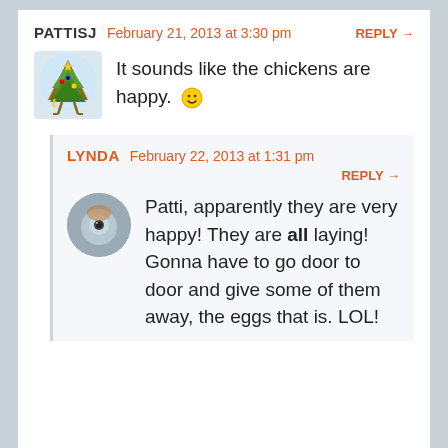PATTISJ   February 21, 2013 at 3:30 pm   REPLY →
[Figure (illustration): Cartoon avatar of a small decorated Christmas tree figure with legs]
It sounds like the chickens are happy. 🙂
LYNDA   February 22, 2013 at 1:31 pm   REPLY →
[Figure (photo): Round avatar photo showing a close-up of a bird or animal, gray and orange tones]
Patti, apparently they are very happy! They are all laying! Gonna have to go door to door and give some of them away, the eggs that is. LOL!